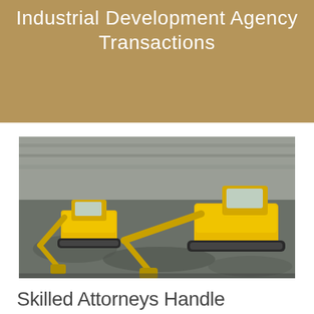Industrial Development Agency Transactions
[Figure (photo): Aerial view of two yellow excavators working at a construction/excavation site with rocky terrain and a retaining wall in the background.]
Skilled Attorneys Handle Industrial Development Agency